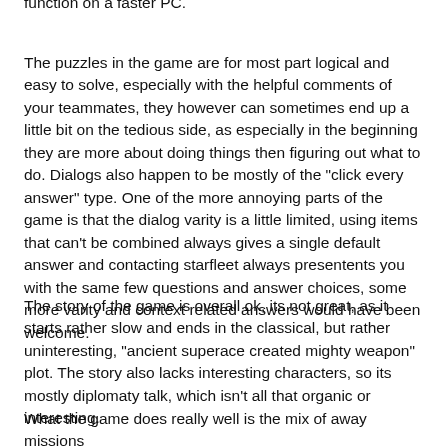function on a faster PC.
The puzzles in the game are for most part logical and easy to solve, especially with the helpful comments of your teammates, they however can sometimes end up a little bit on the tedious side, as especially in the beginning they are more about doing things then figuring out what to do. Dialogs also happen to be mostly of the "click every answer" type. One of the more annoying parts of the game is that the dialog varity is a little limited, using items that can't be combined always gives a single default answer and contacting starfleet always presentents you with the same few questions and answer choices, some more varity and context related answers would have been welcome.
The story of the game is overall ok, its not great, as it starts rather slow and ends in the classical, but rather uninteresting, "ancient superace created mighty weapon" plot. The story also lacks interesting characters, so its mostly diplomaty talk, which isn't all that organic or interesting.
What the game does really well is the mix of away missions